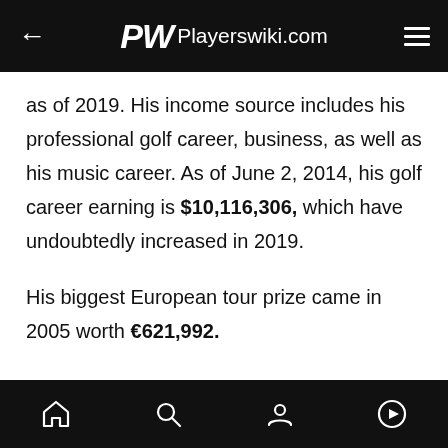Playerswiki.com
as of 2019. His income source includes his professional golf career, business, as well as his music career. As of June 2, 2014, his golf career earning is $10,116,306, which have undoubtedly increased in 2019.

His biggest European tour prize came in 2005 worth €621,992.
ADVERTISEMENT
[home] [search] [profile] [play]